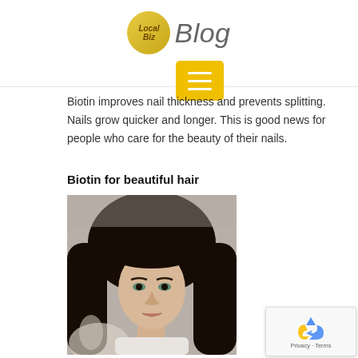Local Biz Blog
[Figure (illustration): Yellow hamburger menu button with three white horizontal lines on gold/yellow background]
Biotin improves nail thickness and prevents splitting. Nails grow quicker and longer. This is good news for people who care for the beauty of their nails.
Biotin for beautiful hair
[Figure (photo): Portrait photo of a young woman with long dark brown/black hair, light eyes, wearing a white top, with a blurred hand/flower in the foreground]
[Figure (other): reCAPTCHA widget showing recycling arrows logo with Privacy and Terms text]